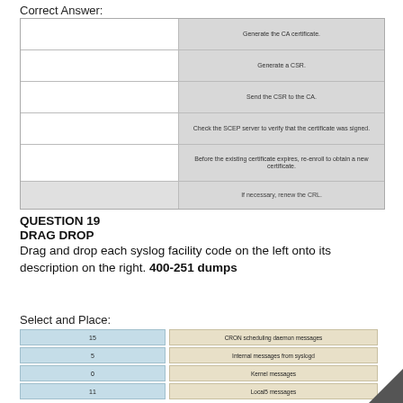Correct Answer:
[Figure (other): Drag-and-drop answer grid with 6 rows. Left column: empty white boxes; Right column: grey boxes with text: 'Generate the CA certificate', 'Generate a CSR', 'Send the CSR to the CA', 'Check the SCEP server to verify that the certificate was signed', 'Before the existing certificate expires, re-enroll to obtain a new certificate', 'If necessary, renew the CRL']
QUESTION 19
DRAG DROP
Drag and drop each syslog facility code on the left onto its description on the right. 400-251 dumps
Select and Place:
[Figure (other): Drag-and-drop select-and-place grid. Left column (blue): '15', '5', '0', '11'. Right column (tan): 'CRON scheduling daemon messages', 'Internal messages from syslogd', 'Kernel messages', 'Local5 messages']